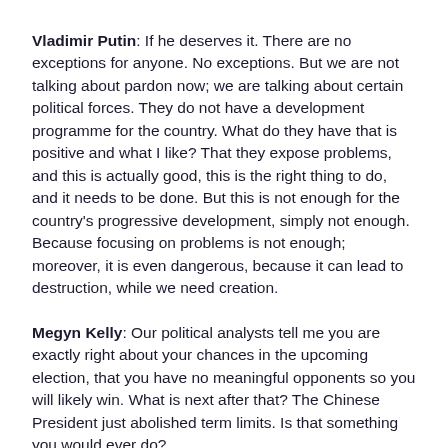Vladimir Putin: If he deserves it. There are no exceptions for anyone. No exceptions. But we are not talking about pardon now; we are talking about certain political forces. They do not have a development programme for the country. What do they have that is positive and what I like? That they expose problems, and this is actually good, this is the right thing to do, and it needs to be done. But this is not enough for the country's progressive development, simply not enough. Because focusing on problems is not enough; moreover, it is even dangerous, because it can lead to destruction, while we need creation.
Megyn Kelly: Our political analysts tell me you are exactly right about your chances in the upcoming election, that you have no meaningful opponents so you will likely win. What is next after that? The Chinese President just abolished term limits. Is that something you would ever do?